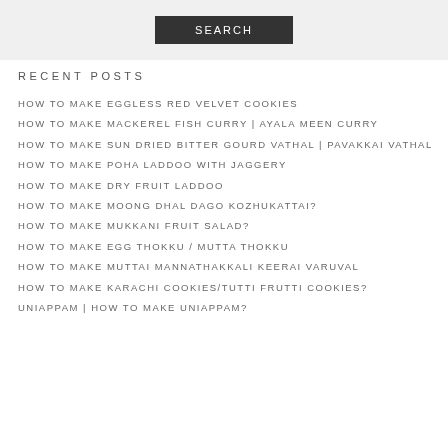[Figure (other): Search button on grey background]
RECENT POSTS
HOW TO MAKE EGGLESS RED VELVET COOKIES
HOW TO MAKE MACKEREL FISH CURRY | AYALA MEEN CURRY
HOW TO MAKE SUN DRIED BITTER GOURD VATHAL | PAVAKKAI VATHAL
HOW TO MAKE POHA LADDOO WITH JAGGERY
HOW TO MAKE DRY FRUIT LADDOO
HOW TO MAKE MOONG DHAL DAGO KOZHUKATTAI?
HOW TO MAKE MUKKANI FRUIT SALAD?
HOW TO MAKE EGG THOKKU / MUTTA THOKKU
HOW TO MAKE MUTTAI MANNATHAKKALI KEERAI VARUVAL
HOW TO MAKE KARACHI COOKIES/TUTTI FRUTTI COOKIES?
UNIAPPAM | HOW TO MAKE UNIAPPAM?